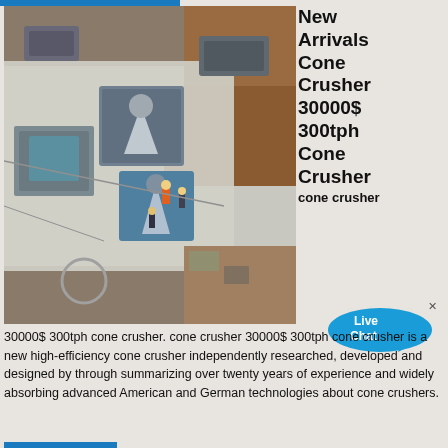[Figure (photo): Aerial view of industrial cone crusher machines on a large platform with workers and construction vehicles]
New Arrivals Cone Crusher 30000$ 300tph Cone Crusher cone crusher
[Figure (infographic): Live Chat speech bubble icon overlay on product title]
30000$ 300tph cone crusher. cone crusher 30000$ 300tph cone crusher is a new high-efficiency cone crusher independently researched, developed and designed by through summarizing over twenty years of experience and widely absorbing advanced American and German technologies about cone crushers.
More Details
[Figure (photo): Ground-level photo of large industrial jaw crusher or cone crusher machinery under a metal canopy structure]